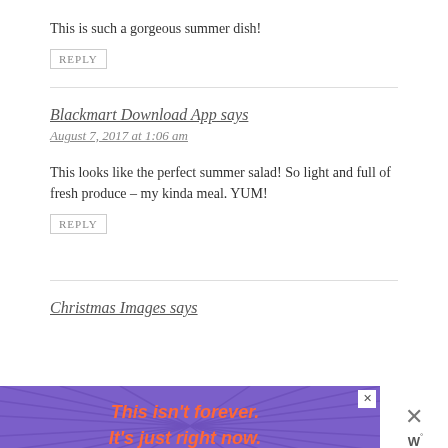This is such a gorgeous summer dish!
REPLY
Blackmart Download App says
August 7, 2017 at 1:06 am
This looks like the perfect summer salad! So light and full of fresh produce – my kinda meal. YUM!
REPLY
Christmas Images says
[Figure (other): Purple advertisement banner with rays pattern and orange italic text reading 'This isn't forever. It's just right now.' with close button and side W logo]